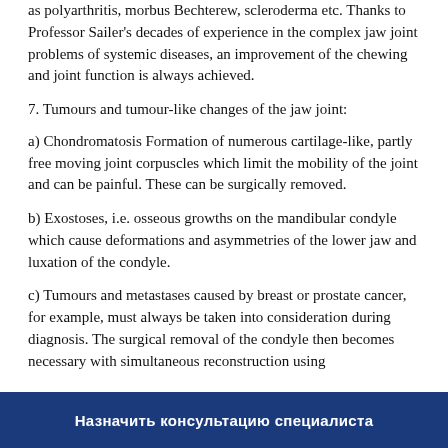as polyarthritis, morbus Bechterew, scleroderma etc. Thanks to Professor Sailer's decades of experience in the complex jaw joint problems of systemic diseases, an improvement of the chewing and joint function is always achieved.
7. Tumours and tumour-like changes of the jaw joint:
a) Chondromatosis Formation of numerous cartilage-like, partly free moving joint corpuscles which limit the mobility of the joint and can be painful. These can be surgically removed.
b) Exostoses, i.e. osseous growths on the mandibular condyle which cause deformations and asymmetries of the lower jaw and luxation of the condyle.
c) Tumours and metastases caused by breast or prostate cancer, for example, must always be taken into consideration during diagnosis. The surgical removal of the condyle then becomes necessary with simultaneous reconstruction using
Назначить консультацию специалиста